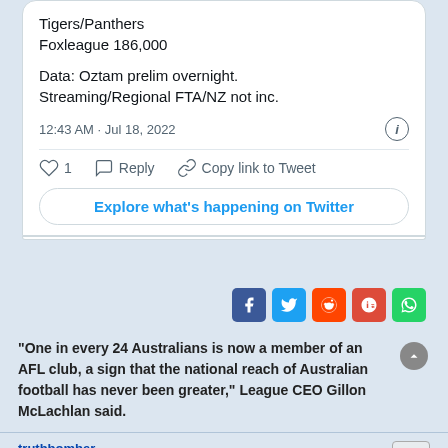Tigers/Panthers
Foxleague 186,000
Data: Oztam prelim overnight. Streaming/Regional FTA/NZ not inc.
12:43 AM · Jul 18, 2022
Explore what's happening on Twitter
[Figure (screenshot): Social share icons: Facebook, Twitter, Reddit, Google+, WhatsApp]
"One in every 24 Australians is now a member of an AFL club, a sign that the national reach of Australian football has never been greater," League CEO Gillon McLachlan said.
truthbomber
Coach
Re: Rank the Codes in VIC